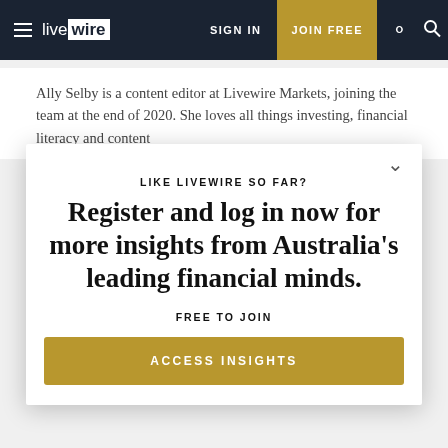livewire | SIGN IN | JOIN FREE
Ally Selby is a content editor at Livewire Markets, joining the team at the end of 2020. She loves all things investing, financial literacy and content
LIKE LIVEWIRE SO FAR?
Register and log in now for more insights from Australia's leading financial minds.
FREE TO JOIN
ACCESS INSIGHTS